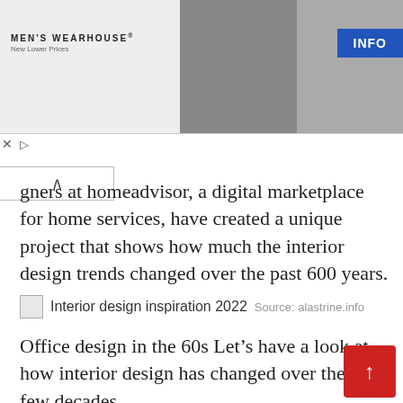[Figure (photo): Men's Wearhouse advertisement banner showing a couple in formal wear and a solo man in a suit, with INFO button]
...signers at homeadvisor, a digital marketplace for home services, have created a unique project that shows how much the interior design trends changed over the past 600 years.
Interior design inspiration 2022  Source: alastrine.info
Office design in the 60s Let's have a look at how interior design has changed over the last few decades.
Cinere Residence Project.  Source: www.furniturepulse.co.uk
Magazines have also had a huge impact. The influence